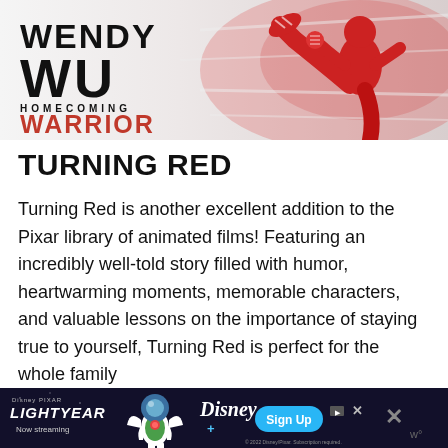[Figure (photo): Movie poster banner for 'Wendy Wu: Homecoming Warrior' showing the title text in bold black and red letters on the left, and a figure in red martial arts attire kicking on the right against a white/gray background.]
TURNING RED
Turning Red is another excellent addition to the Pixar library of animated films! Featuring an incredibly well-told story filled with humor, heartwarming moments, memorable characters, and valuable lessons on the importance of staying true to yourself, Turning Red is perfect for the whole family
[Figure (photo): Advertisement banner for Disney+ Lightyear. Shows 'Disney Pixar Lightyear - Now streaming' text with Buzz Lightyear figure, Disney+ logo, and a blue 'Sign Up' button on a dark background.]